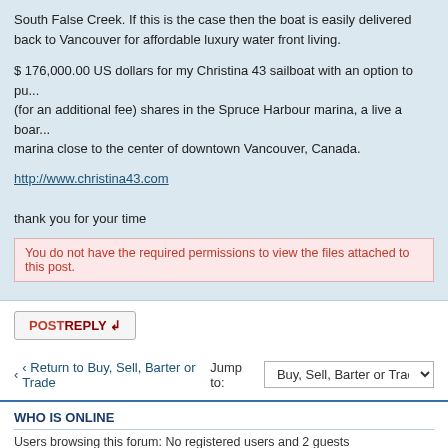South False Creek. If this is the case then the boat is easily delivered back to Vancouver for affordable luxury water front living.
$ 176,000.00 US dollars for my Christina 43 sailboat with an option to purchase (for an additional fee) shares in the Spruce Harbour marina, a live a board marina close to the center of downtown Vancouver, Canada.
http://www.christina43.com
thank you for your time
You do not have the required permissions to view the files attached to this post.
POSTREPLY
Return to Buy, Sell, Barter or Trade
Jump to: Buy, Sell, Barter or Trade
WHO IS ONLINE
Users browsing this forum: No registered users and 2 guests
Board index
The team •
Powered by phpBB® Forum Software © phpBB Group